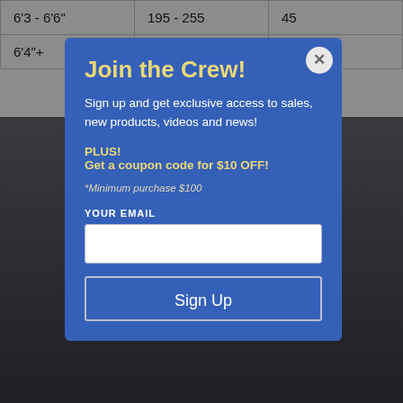| Height | Weight | ? |
| --- | --- | --- |
| 6'3 - 6'6" | 195 - 255 | 45 |
| 6'4"+ |  |  |
[Figure (photo): Dark background photo of a person/product, partially visible behind the modal overlay]
Join the Crew!
Sign up and get exclusive access to sales, new products, videos and news!
PLUS!
Get a coupon code for $10 OFF!
*Minimum purchase $100
YOUR EMAIL
Sign Up